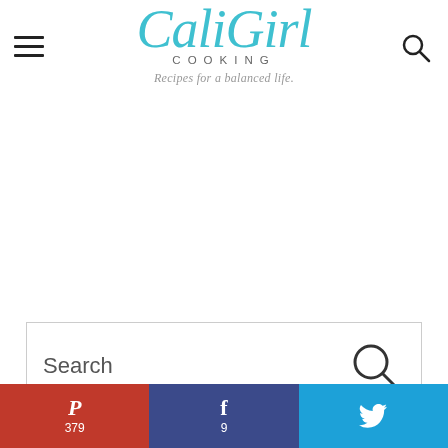[Figure (logo): CaliGirl Cooking logo with teal script text, COOKING in spaced caps, and tagline 'Recipes for a balanced life']
[Figure (other): Search bar with magnifying glass icon and placeholder text 'Search']
[Figure (infographic): Social share bar with Pinterest (379), Facebook (9), and Twitter buttons]